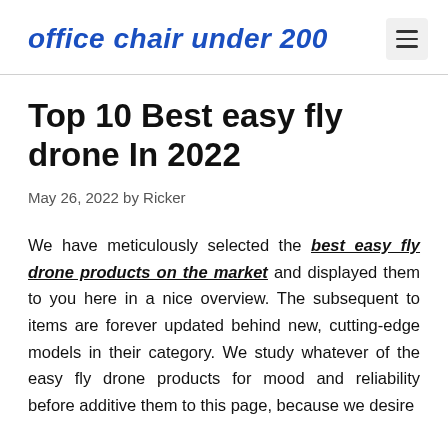office chair under 200
Top 10 Best easy fly drone In 2022
May 26, 2022 by Ricker
We have meticulously selected the best easy fly drone products on the market and displayed them to you here in a nice overview. The subsequent to items are forever updated behind new, cutting-edge models in their category. We study whatever of the easy fly drone products for mood and reliability before additive them to this page, because we desire